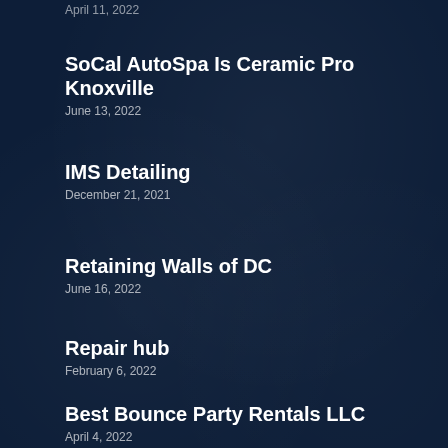April 11, 2022
SoCal AutoSpa Is Ceramic Pro Knoxville
June 13, 2022
IMS Detailing
December 21, 2021
Retaining Walls of DC
June 16, 2022
Repair hub
February 6, 2022
Best Bounce Party Rentals LLC
April 4, 2022